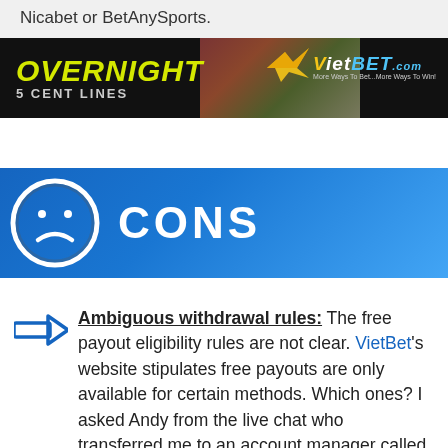Nicabet or BetAnySports.
[Figure (infographic): VietBet advertisement banner: black background with 'OVERNIGHT' in yellow italic bold text, '5 CENT LINES' in gray, baseball player image in background, VietBet.com logo on right with bird icon and tagline 'More Ways To Bet...More Ways To Win!']
[Figure (infographic): Blue gradient CONS section header with a white outlined sad face emoji icon on the left and 'CONS' in large white bold text on the right]
Ambiguous withdrawal rules: The free payout eligibility rules are not clear. VietBet's website stipulates free payouts are only available for certain methods. Which ones? I asked Andy from the live chat who transferred me to an account manager called Peter. He insisted on getting my email address and phone number